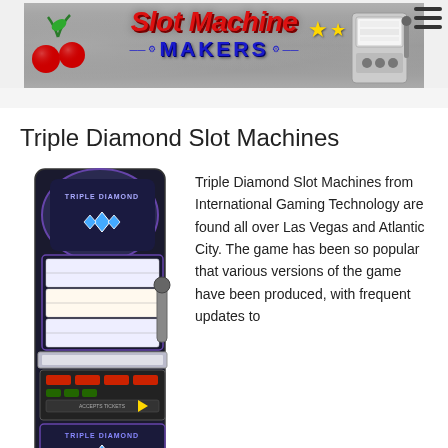[Figure (logo): Slot Machine Makers website header banner with red italic logo text 'Slot Machine MAKERS', cherries graphic, gold stars, and a slot machine illustration on the right. Hamburger menu icon top right.]
Triple Diamond Slot Machines
[Figure (photo): Photo of a Triple Diamond slot machine by International Gaming Technology, showing the full cabinet with display screens and branding.]
Triple Diamond Slot Machines from International Gaming Technology are found all over Las Vegas and Atlantic City. The game has been so popular that various versions of the game have been produced, with frequent updates to